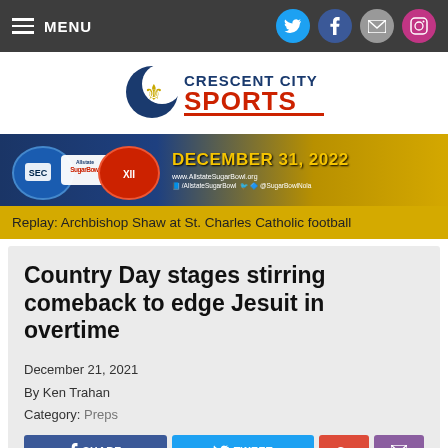MENU
[Figure (logo): Crescent City Sports logo with crescent moon and fleur-de-lis icon]
[Figure (infographic): Allstate Sugar Bowl advertisement banner - December 31, 2022 with football helmets (SEC and Big 12 logos), www.AllstateSugarBowl.org]
Replay: Archbishop Shaw at St. Charles Catholic football
Country Day stages stirring comeback to edge Jesuit in overtime
December 21, 2021
By Ken Trahan
Category: Preps
SHARE
TWEET